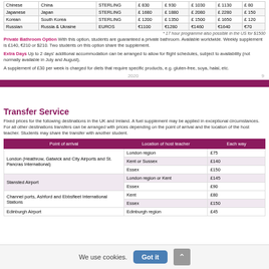|  |  |  | E 830 | E 930 | E 1030 | E 1130 | E 80 |
| --- | --- | --- | --- | --- | --- | --- | --- |
| Chinese | China | STERLING | E 830 | E 930 | E 1030 | E 1130 | E 80 |
| Japanese | Japan | STERLING | E 1680 | E 1880 | E 2080 | E 2280 | E 150 |
| Korean | South Korea | STERLING | E 1200 | E 1350 | E 1500 | E 1650 | E 120 |
| Russian | Russia & Ukraine | EUROS | €1100 | €1280 | €1460 | €1640 | €70 |
* 17 hour programme also possible in the US for $1500
Private Bathroom Option With this option, students are guaranteed a private bathroom. Available worldwide. Weekly supplement is £140, €210 or $210. Two students on this option share the supplement.
Extra Days Up to 2 days' additional accommodation can be arranged to allow for flight schedules, subject to availability (not normally available in July and August).
A supplement of £30 per week is charged for diets that require specific products, e.g. gluten-free, soya, halal, etc.
2020   9
Transfer Service
Fixed prices for the following destinations in the UK and Ireland. A fuel supplement may be applied in exceptional circumstances. For all other destinations transfers can be arranged with prices depending on the point of arrival and the location of the host teacher. Students may share the transfer with another student.
| Point of arrival | Location of host teacher | Each way |
| --- | --- | --- |
| London (Heathrow, Gatwick and City Airports and St. Pancras International) | London region | £75 |
|  | Kent or Sussex | £140 |
|  | Essex | £150 |
| Stansted Airport | London region or Kent | £145 |
|  | Essex | £90 |
| Channel ports, Ashford and Ebbsfleet International Stations | Kent | £80 |
|  | Essex | £150 |
| Edinburgh Airport | Edinburgh region | £45 |